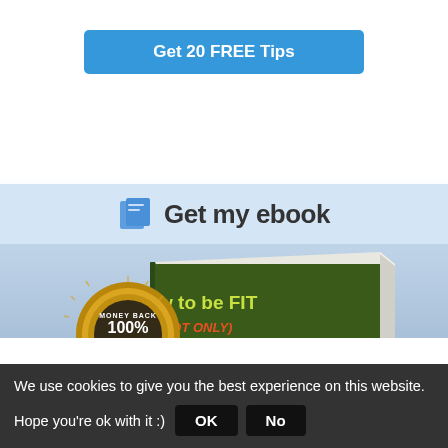[Figure (other): Blue rectangular button labeled 'Get 20 FREE Tips']
[Figure (other): Blue rounded Twitter follow button with bird icon labeled 'Follow @Sexyfuntraveler']
[Figure (other): Section header with book icon and text 'Get my ebook' on light blue background]
[Figure (illustration): Ebook cover showing 'How to be FIT (NOT ONLY) when traveling' with a green book and gold 100% Money Back Guarantee badge]
We use cookies to give you the best experience on this website.
Hope you're ok with it :)
[Figure (other): OK and No buttons for cookie consent]